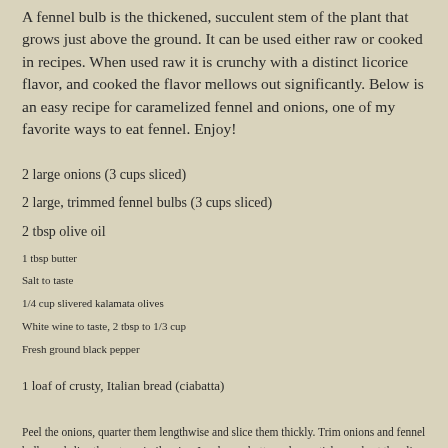A fennel bulb is the thickened, succulent stem of the plant that grows just above the ground. It can be used either raw or cooked in recipes. When used raw it is crunchy with a distinct licorice flavor, and cooked the flavor mellows out significantly. Below is an easy recipe for caramelized fennel and onions, one of my favorite ways to eat fennel. Enjoy!
2 large onions (3 cups sliced)
2 large, trimmed fennel bulbs (3 cups sliced)
2 tbsp olive oil
1 tbsp butter
Salt to taste
1/4 cup slivered kalamata olives
White wine to taste, 2 tbsp to 1/3 cup
Fresh ground black pepper
1 loaf of crusty, Italian bread (ciabatta)
Peel the onions, quarter them lengthwise and slice them thickly. Trim onions and fennel bulbs and slice them to a similar size. In a heavy bottomed, nonstick pan, heat the olive oil and butter. Add the onion and fennel, add it lightly and cook over medium heat, stirring often until the vegetables are soft...